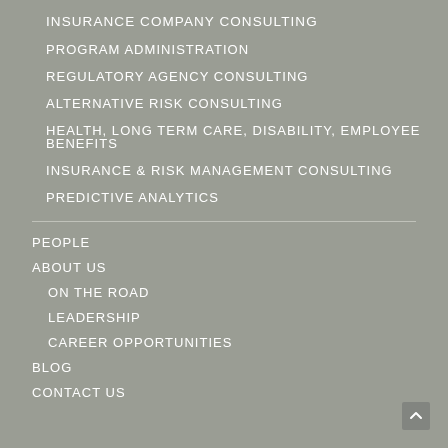INSURANCE COMPANY CONSULTING
PROGRAM ADMINISTRATION
REGULATORY AGENCY CONSULTING
ALTERNATIVE RISK CONSULTING
HEALTH, LONG TERM CARE, DISABILITY, EMPLOYEE BENEFITS
INSURANCE & RISK MANAGEMENT CONSULTING
PREDICTIVE ANALYTICS
PEOPLE
ABOUT US
ON THE ROAD
LEADERSHIP
CAREER OPPORTUNITIES
BLOG
CONTACT US